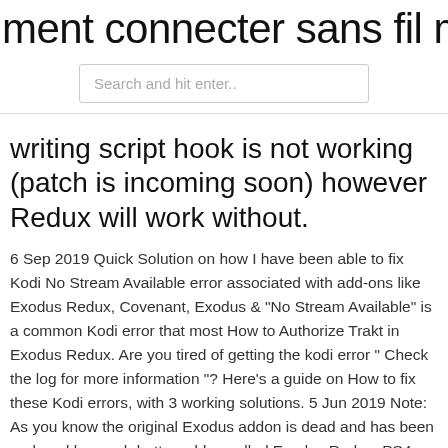ment connecter sans fil mac à lg sm
Search and hit enter..
writing script hook is not working (patch is incoming soon) however Redux will work without.
6 Sep 2019 Quick Solution on how I have been able to fix Kodi No Stream Available error associated with add-ons like Exodus Redux, Covenant, Exodus & "No Stream Available" is a common Kodi error that most How to Authorize Trakt in Exodus Redux. Are you tired of getting the kodi error " Check the log for more information "? Here's a guide on How to fix these Kodi errors, with 3 working solutions. 5 Jun 2019 Note: As you know the original Exodus addon is dead and has been replaced by much better addon called Exodus Redux. PS4 Error (CE-34878-0) points towards some kind of problem that causes the game or application that is currently in use to crash. It's a general error that may  5 May 2019 What version of Exodus are you running now? I've had good luck with the